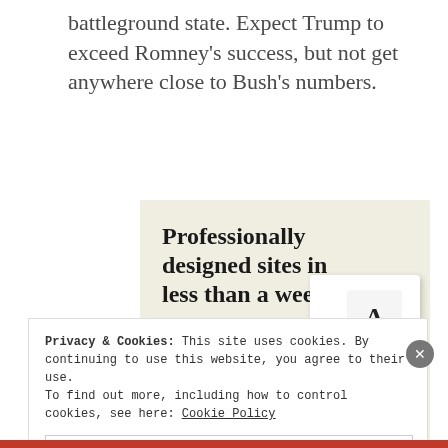battleground state. Expect Trump to exceed Romney's success, but not get anywhere close to Bush's numbers.
[Figure (advertisement): Website builder advertisement with beige background reading 'Professionally designed sites in less than a week' with a green 'Explore options' button and screenshot mockups of websites with food imagery]
Privacy & Cookies: This site uses cookies. By continuing to use this website, you agree to their use.
To find out more, including how to control cookies, see here: Cookie Policy
Close and accept